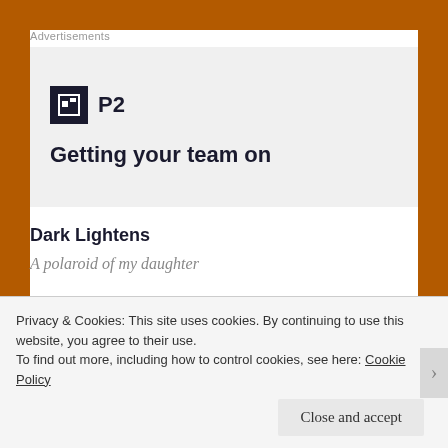Advertisements
[Figure (logo): P2 advertisement banner with logo icon and tagline 'Getting your team on' on a light grey background]
Dark Lightens
A polaroid of my daughter
Privacy & Cookies: This site uses cookies. By continuing to use this website, you agree to their use.
To find out more, including how to control cookies, see here: Cookie Policy
Close and accept